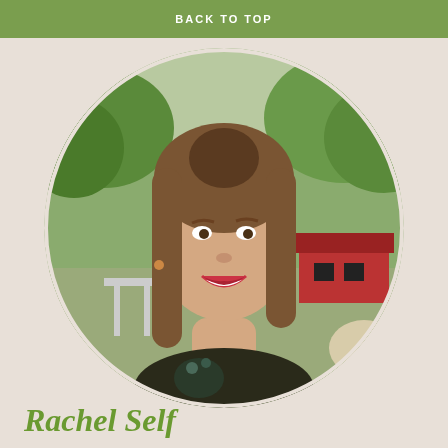BACK TO TOP
[Figure (photo): Circular portrait photo of a young woman with long brown hair, smiling, wearing a floral sleeveless top. Background shows green trees and a red barn/shed structure outdoors.]
Rachel Self